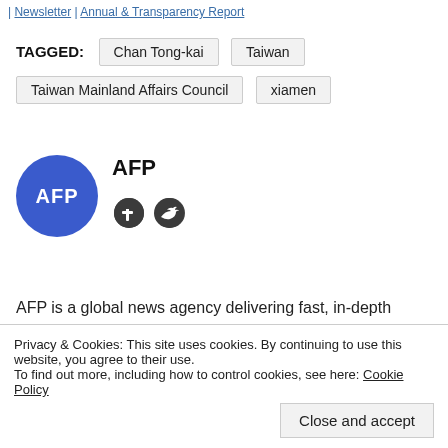| Newsletter | Annual & Transparency Report
TAGGED: Chan Tong-kai  Taiwan  Taiwan Mainland Affairs Council  xiamen
AFP
[Figure (logo): AFP circular blue logo with white AFP text]
[Figure (infographic): Facebook and Twitter social media icons]
AFP is a global news agency delivering fast, in-depth coverage of the events shaping our world from wars and conflicts to politics,
Privacy & Cookies: This site uses cookies. By continuing to use this website, you agree to their use.
To find out more, including how to control cookies, see here: Cookie Policy